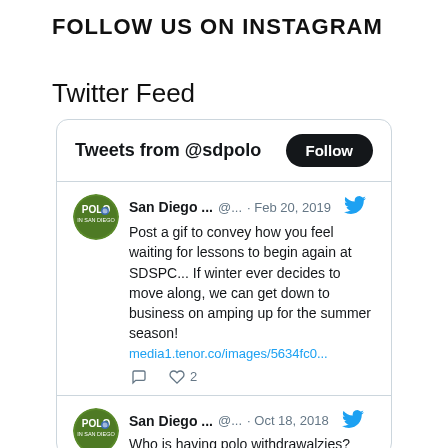FOLLOW US ON INSTAGRAM
Twitter Feed
[Figure (screenshot): Embedded Twitter feed widget showing tweets from @sdpolo. First tweet: San Diego ... @... · Feb 20, 2019 — Post a gif to convey how you feel waiting for lessons to begin again at SDSPC... If winter ever decides to move along, we can get down to business on amping up for the summer season! media1.tenor.co/images/5634fc0... with 2 likes. Second tweet (partial): San Diego ... @... · Oct 18, 2018 — Who is having polo withdrawalzies?]